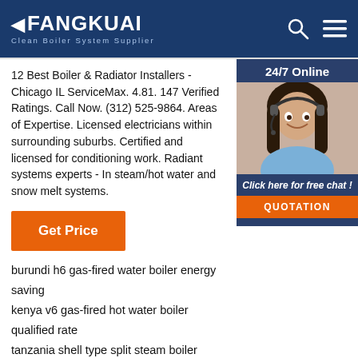FANGKUAI Clean Boiler System Supplier
12 Best Boiler & Radiator Installers - Chicago IL ServiceMax. 4.81. 147 Verified Ratings. Call Now. (312) 525-9864. Areas of Expertise. Licensed electricians within surrounding suburbs. Certified and licensed for conditioning work. Radiant systems experts - In steam/hot water and snow melt systems.
[Figure (photo): Customer service agent with headset, 24/7 Online chat widget with orange QUOTATION button]
Get Price
burundi h6 gas-fired water boiler energy saving
kenya v6 gas-fired hot water boiler qualified rate
tanzania shell type split steam boiler environmental protection
indonesia gas-fired vertical boiler define
kazakhstan gas split hot water boiler system
thailand v6 gas-fired water boiler kit
rwanda oil integrated steam boiler define
kyrgyzstan gas-fired integrated hot water boiler working
[Figure (logo): TOP badge with orange dots arranged in triangle above bold red TOP text]